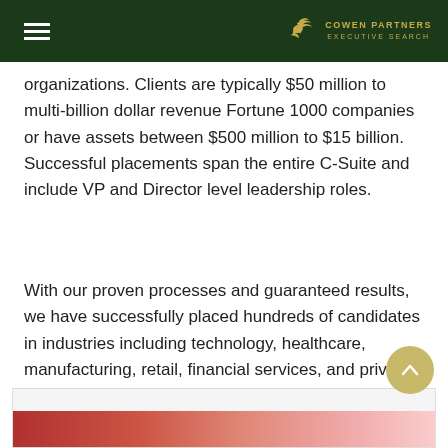Cowen Partners Executive Search
organizations. Clients are typically $50 million to multi-billion dollar revenue Fortune 1000 companies or have assets between $500 million to $15 billion. Successful placements span the entire C-Suite and include VP and Director level leadership roles.
With our proven processes and guaranteed results, we have successfully placed hundreds of candidates in industries including technology, healthcare, manufacturing, retail, financial services, and private equity.
[Figure (photo): Partial view of a photo, likely showing business-related imagery]